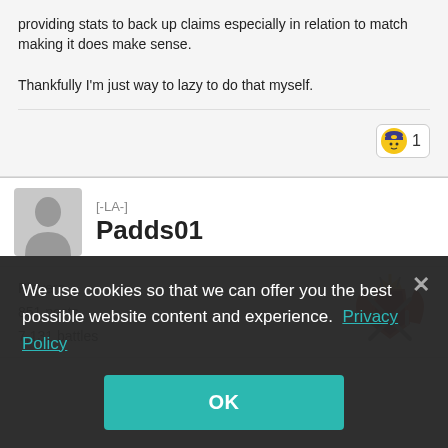providing stats to back up claims especially in relation to match making it does make sense.

Thankfully I'm just way to lazy to do that myself.
[-LA-]
Padds01
Players
851 posts
7,131 battles
We use cookies so that we can offer you the best possible website content and experience. Privacy Policy
OK